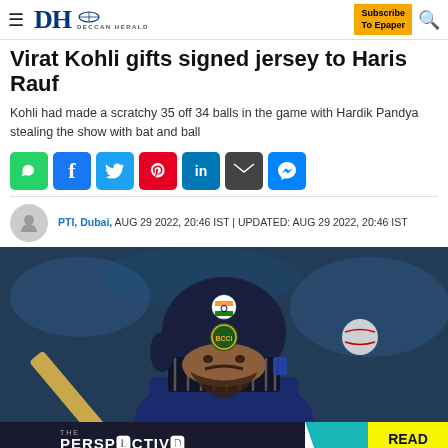DH DECCAN HERALD | Subscribe To Epaper
Virat Kohli gifts signed jersey to Haris Rauf
Kohli had made a scratchy 35 off 34 balls in the game with Hardik Pandya stealing the show with bat and ball
[Figure (infographic): Social sharing icons: WhatsApp, Facebook, Twitter, Pinterest, LinkedIn, Email, Messenger]
PTI, Dubai, AUG 29 2022, 20:46 IST | UPDATED: AUG 29 2022, 20:46 IST
[Figure (photo): Virat Kohli in cricket batting stance wearing India navy blue helmet with BCCI logo and Indian flag, holding a cricket bat, with a cricket ball visible in the frame. Background is blurred stadium crowd.]
[Figure (infographic): Promotional banner: THE PERSPECTIVE - SEE WHAT YOU'RE MISSING | READ MORE]